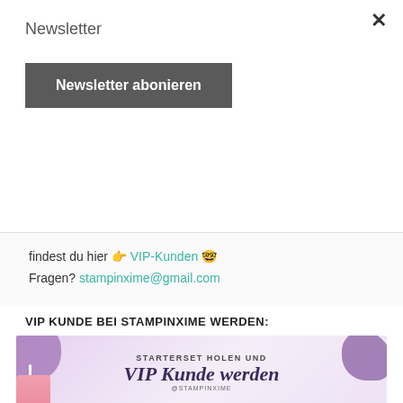Newsletter
Newsletter abonieren
findest du hier 👉 VIP-Kunden 🤓
Fragen? stampinxime@gmail.com
VIP KUNDE BEI STAMPINXIME WERDEN:
[Figure (infographic): Promotional infographic for becoming a VIP Kunde (customer) at Stampinxime. Shows text 'STARTERSET HOLEN UND VIP Kunde werden @STAMPINXIME' with purple decorative blobs, a pink cup illustration, and checklist items: 'Kostenloses Zugang zu meine Bastelanleitungen!' and 'Monatliche Bastelprojekte zu unsere Online Teamtreffen']